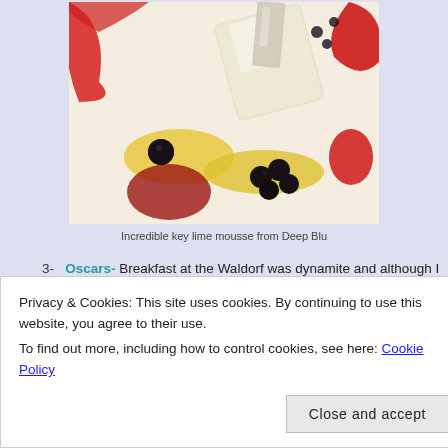[Figure (photo): Close-up food photo of key lime mousse from Deep Blu restaurant, showing a geometric white/translucent mousse block with yellow sauce, dark berries, and red berry coulis on a white plate.]
Incredible key lime mousse from Deep Blu
3-  Oscars- Breakfast at the Waldorf was dynamite  and although I
Privacy & Cookies: This site uses cookies. By continuing to use this website, you agree to their use.
To find out more, including how to control cookies, see here: Cookie Policy